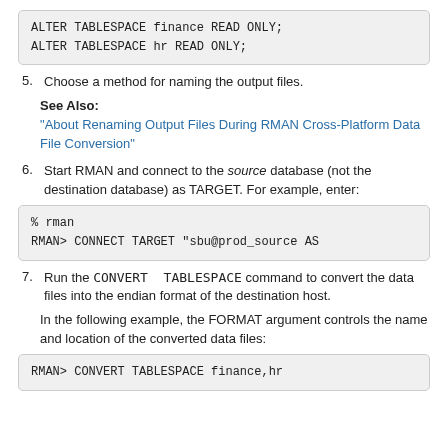[Figure (screenshot): Code block showing: ALTER TABLESPACE finance READ ONLY; ALTER TABLESPACE hr READ ONLY;]
5. Choose a method for naming the output files.
See Also:
"About Renaming Output Files During RMAN Cross-Platform Data File Conversion"
6. Start RMAN and connect to the source database (not the destination database) as TARGET. For example, enter:
[Figure (screenshot): Code block showing: % rman
RMAN> CONNECT TARGET "sbu@prod_source AS]
7. Run the CONVERT  TABLESPACE command to convert the data files into the endian format of the destination host.
In the following example, the FORMAT argument controls the name and location of the converted data files:
[Figure (screenshot): Code block showing: RMAN> CONVERT TABLESPACE finance,hr]